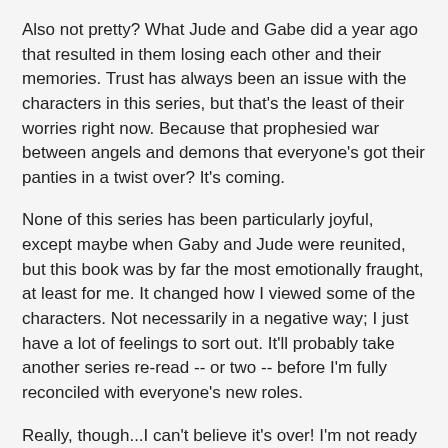Also not pretty? What Jude and Gabe did a year ago that resulted in them losing each other and their memories. Trust has always been an issue with the characters in this series, but that's the least of their worries right now. Because that prophesied war between angels and demons that everyone's got their panties in a twist over? It's coming.
None of this series has been particularly joyful, except maybe when Gaby and Jude were reunited, but this book was by far the most emotionally fraught, at least for me. It changed how I viewed some of the characters. Not necessarily in a negative way; I just have a lot of feelings to sort out. It'll probably take another series re-read -- or two -- before I'm fully reconciled with everyone's new roles.
Really, though...I can't believe it's over! I'm not ready to say goodbye to these characters. Not even Mya. :P I'm pretty damn satisfied with this conclusion…with the answers we got, with how the memory loss happened and how it was resolved, with who the Rephaim are and what their purpose is. That said, I don't often read spin-offs but I would SO read one set in this world.